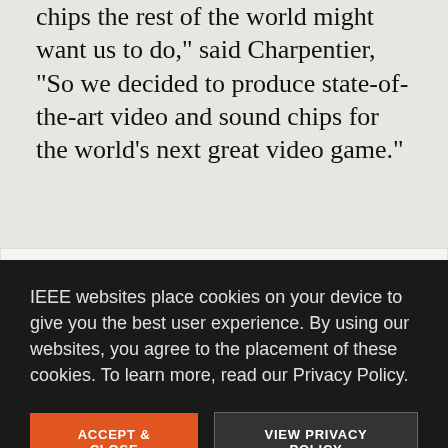chips the rest of the world might want us to do," said Charpentier, "So we decided to produce state-of-the-art video and sound chips for the world's next great video game."
This article was first published as "Design case history: the Commodore 64." It appeared in the March 1985 issue of IEEE Spectrum. A PDF version is
IEEE websites place cookies on your device to give you the best user experience. By using our websites, you agree to the placement of these cookies. To learn more, read our Privacy Policy.